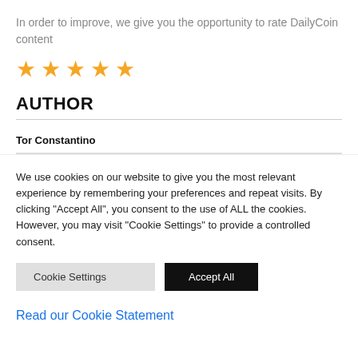In order to improve, we give you the opportunity to rate DailyCoin content
[Figure (other): Five gold/yellow star rating icons]
AUTHOR
Tor Constantino
We use cookies on our website to give you the most relevant experience by remembering your preferences and repeat visits. By clicking "Accept All", you consent to the use of ALL the cookies. However, you may visit "Cookie Settings" to provide a controlled consent.
Cookie Settings   Accept All
Read our Cookie Statement